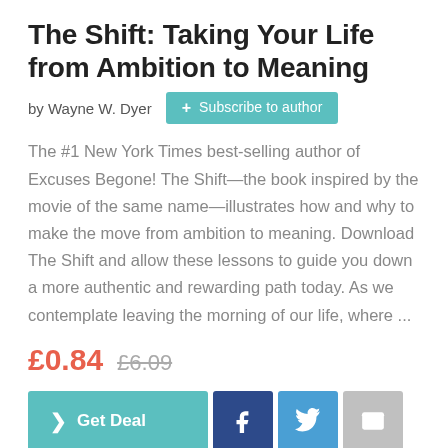The Shift: Taking Your Life from Ambition to Meaning
by Wayne W. Dyer
The #1 New York Times best-selling author of Excuses Begone! The Shift—the book inspired by the movie of the same name—illustrates how and why to make the move from ambition to meaning. Download The Shift and allow these lessons to guide you down a more authentic and rewarding path today. As we contemplate leaving the morning of our life, where ...
£0.84  £6.09